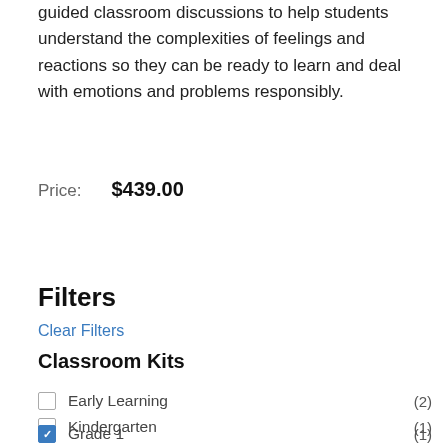guided classroom discussions to help students understand the complexities of feelings and reactions so they can be ready to learn and deal with emotions and problems responsibly.
Price:    $439.00
Filters
Clear Filters
Classroom Kits
Early Learning (2)
Kindergarten (1)
Grade 1 (1)